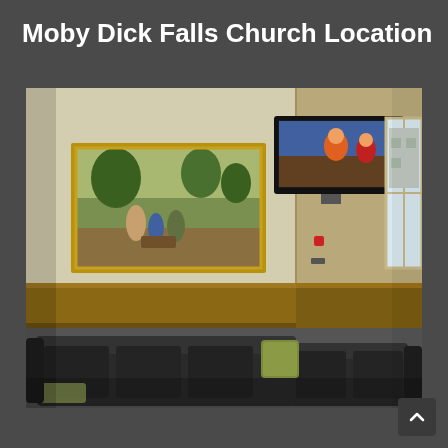Moby Dick Falls Church Location
[Figure (photo): Interior photo of a church lobby/waiting area with a dark leather sectional sofa, wood wainscoting, a large framed religious painting on the left wall, and a flat-screen TV mounted in the upper right corner playing an animated cartoon. A window is visible on the right side.]